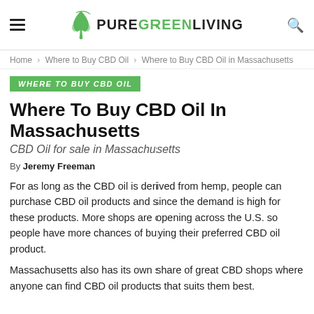PUREGREENLIVING
Home > Where to Buy CBD Oil > Where to Buy CBD Oil in Massachusetts
WHERE TO BUY CBD OIL
Where To Buy CBD Oil In Massachusetts
CBD Oil for sale in Massachusetts
By Jeremy Freeman
For as long as the CBD oil is derived from hemp, people can purchase CBD oil products and since the demand is high for these products. More shops are opening across the U.S. so people have more chances of buying their preferred CBD oil product.
Massachusetts also has its own share of great CBD shops where anyone can find CBD oil products that suits them best.